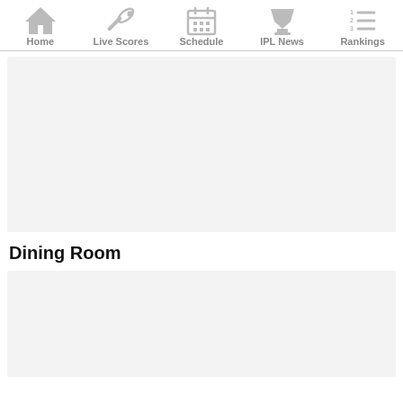Home | Live Scores | Schedule | IPL News | Rankings
Dining Room
[Figure (other): Gray placeholder image box]
[Figure (other): Gray placeholder image box 2]